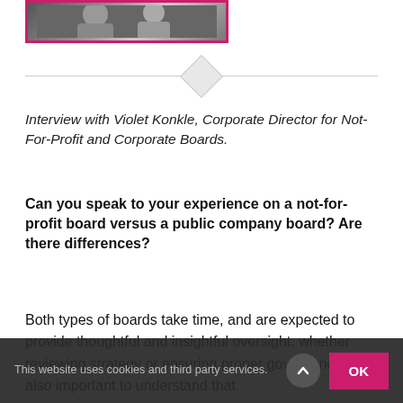[Figure (photo): Black and white photo of a person, partially visible, with a pink/magenta border frame]
[Figure (illustration): Horizontal divider line with a grey diamond shape centered on it]
Interview with Violet Konkle, Corporate Director for Not-For-Profit and Corporate Boards.
Can you speak to your experience on a not-for-profit board versus a public company board? Are there differences?
Both types of boards take time, and are expected to provide thoughtful and insightful oversight, whether reviewing strategy or ensuring proper governance. It’s also important to understand that
This website uses cookies and third party services.
OK